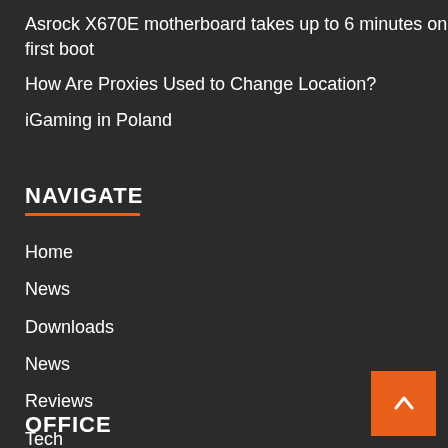Asrock X670E motherboard takes up to 6 minutes on first boot
How Are Proxies Used to Change Location?
iGaming in Poland
NAVIGATE
Home
News
Downloads
News
Reviews
Tech
Contact Form
OFFICE